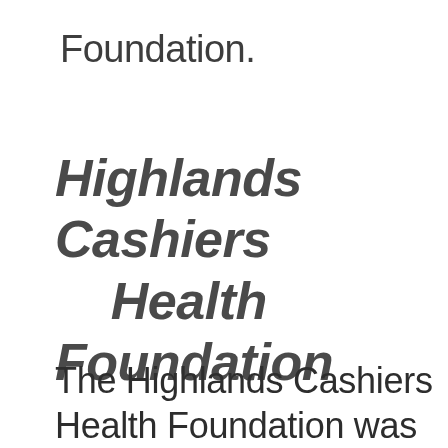Foundation.
Highlands Cashiers     Health Foundation
The Highlands Cashiers Health Foundation was